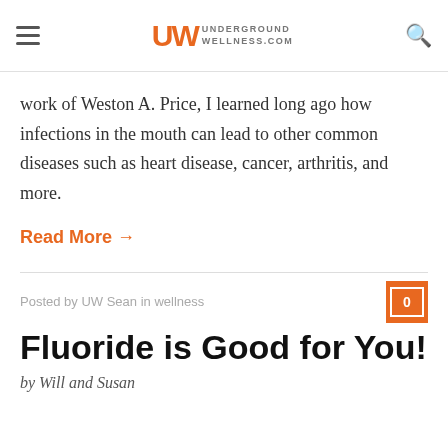UW UNDERGROUND WELLNESS.COM
work of Weston A. Price, I learned long ago how infections in the mouth can lead to other common diseases such as heart disease, cancer, arthritis, and more.
Read More →
Posted by UW Sean in wellness
Fluoride is Good for You!
by Will and Susan